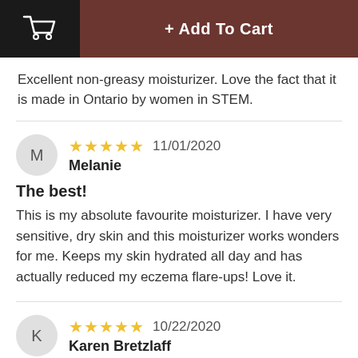[Figure (screenshot): Shopping cart icon in black header area]
+ Add To Cart
Excellent non-greasy moisturizer. Love the fact that it is made in Ontario by women in STEM.
M  ★★★★★ 11/01/2020  Melanie
The best!
This is my absolute favourite moisturizer. I have very sensitive, dry skin and this moisturizer works wonders for me. Keeps my skin hydrated all day and has actually reduced my eczema flare-ups! Love it.
K  ★★★★★ 10/22/2020  Karen Bretzlaff